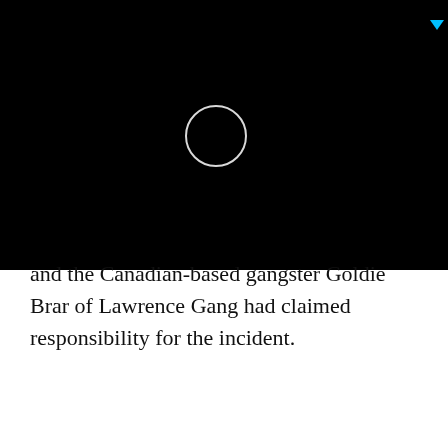[Figure (screenshot): Black background area with a white circle outline (loading spinner) and a small cyan/blue downward-pointing triangle icon at the top]
and the Canadian-based gangster Goldie Brar of Lawrence Gang had claimed responsibility for the incident.